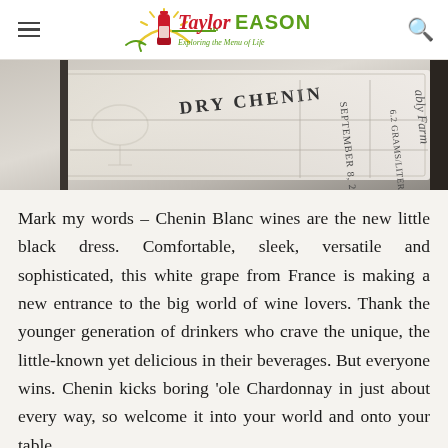Taylor EASON – Exploring the Menu of Life
[Figure (photo): Close-up photo of a wine bottle label reading 'DRY CHENIN' with text 'SEPTEMBER 8, 2017', '6.2 GRAMS/LITER', and partial text 'ably Farm']
Mark my words – Chenin Blanc wines are the new little black dress. Comfortable, sleek, versatile and sophisticated, this white grape from France is making a new entrance to the big world of wine lovers. Thank the younger generation of drinkers who crave the unique, the little-known yet delicious in their beverages. But everyone wins. Chenin kicks boring 'ole Chardonnay in just about every way, so welcome it into your world and onto your table.